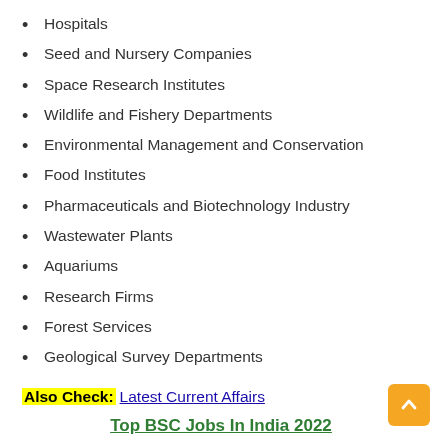Hospitals
Seed and Nursery Companies
Space Research Institutes
Wildlife and Fishery Departments
Environmental Management and Conservation
Food Institutes
Pharmaceuticals and Biotechnology Industry
Wastewater Plants
Aquariums
Research Firms
Forest Services
Geological Survey Departments
Also Check: Latest Current Affairs
Top BSC Jobs In India 2022
If you talk about the government jobs after b.sc in India,